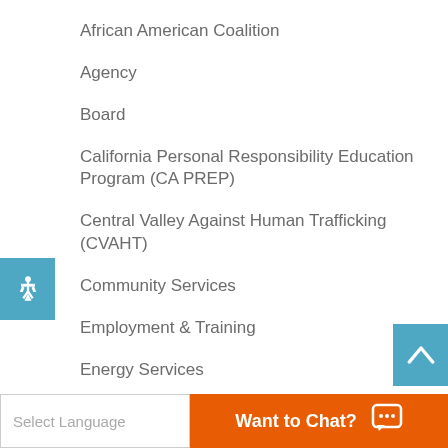African American Coalition
Agency
Board
California Personal Responsibility Education Program (CA PREP)
Central Valley Against Human Trafficking (CVAHT)
Community Services
Employment & Training
Energy Services
Food Distribution
Food Services
Foster Grandparent Program
Head Start 0 to 5